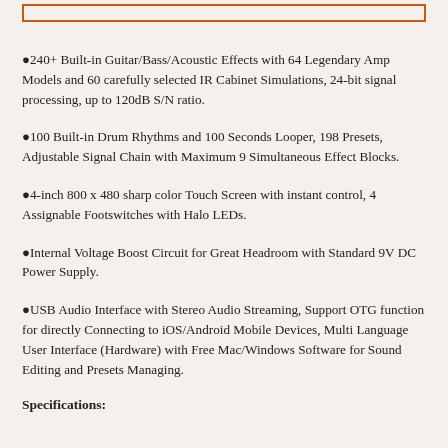[Figure (other): Orange rectangular border at top of page]
●240+ Built-in Guitar/Bass/Acoustic Effects with 64 Legendary Amp Models and 60 carefully selected IR Cabinet Simulations, 24-bit signal processing, up to 120dB S/N ratio.
●100 Built-in Drum Rhythms and 100 Seconds Looper, 198 Presets, Adjustable Signal Chain with Maximum 9 Simultaneous Effect Blocks.
●4-inch 800 x 480 sharp color Touch Screen with instant control, 4 Assignable Footswitches with Halo LEDs.
●Internal Voltage Boost Circuit for Great Headroom with Standard 9V DC Power Supply.
●USB Audio Interface with Stereo Audio Streaming, Support OTG function for directly Connecting to iOS/Android Mobile Devices, Multi Language User Interface (Hardware) with Free Mac/Windows Software for Sound Editing and Presets Managing.
Specifications: